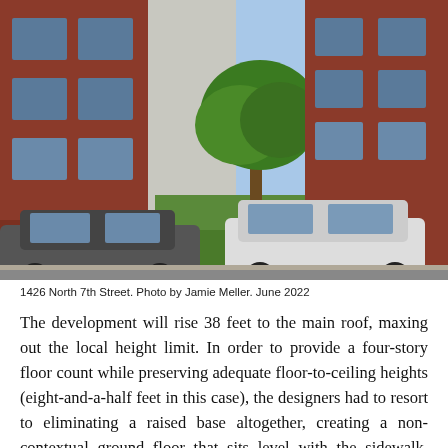[Figure (photo): Street-level photo of 1426 North 7th Street showing a vacant lot between brick row houses, with two cars parked on the street and a tree in the background. Taken in June 2022 by Jamie Meller.]
1426 North 7th Street. Photo by Jamie Meller. June 2022
The development will rise 38 feet to the main roof, maxing out the local height limit. In order to provide a four-story floor count while preserving adequate floor-to-ceiling heights (eight-and-a-half feet in this case), the designers had to resort to eliminating a raised base altogether, creating a non-contextual ground floor that sits level with the sidewalk. While such an arrangement is preferable